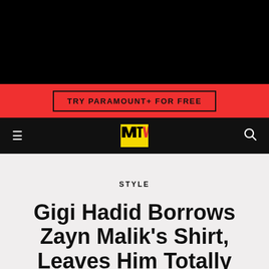[Figure (screenshot): Black top navigation bar area]
TRY PARAMOUNT+ FOR FREE
MTV logo navigation bar with hamburger menu and search icon
STYLE
Gigi Hadid Borrows Zayn Malik's Shirt, Leaves Him Totally Shirtless
Thank you, Gigi. Thank you.